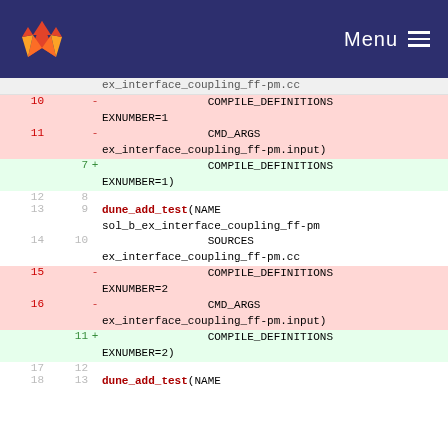Menu
[Figure (screenshot): GitLab diff view showing CMakeLists changes for dune_add_test entries with COMPILE_DEFINITIONS and CMD_ARGS, lines 10-18]
| old | new | +/- | code |
| --- | --- | --- | --- |
|  |  |  | ex_interface_coupling_ff-pm.cc |
| 10 |  | - | COMPILE_DEFINITIONS EXNUMBER=1 |
| 11 |  | - | CMD_ARGS ex_interface_coupling_ff-pm.input) |
|  | 7 | + | COMPILE_DEFINITIONS EXNUMBER=1) |
| 12 | 8 |  |  |
| 13 | 9 |  | dune_add_test(NAME sol_b_ex_interface_coupling_ff-pm |
| 14 | 10 |  | SOURCES ex_interface_coupling_ff-pm.cc |
| 15 |  | - | COMPILE_DEFINITIONS EXNUMBER=2 |
| 16 |  | - | CMD_ARGS ex_interface_coupling_ff-pm.input) |
|  | 11 | + | COMPILE_DEFINITIONS EXNUMBER=2) |
| 17 | 12 |  |  |
| 18 | 13 |  | dune_add_test(NAME |